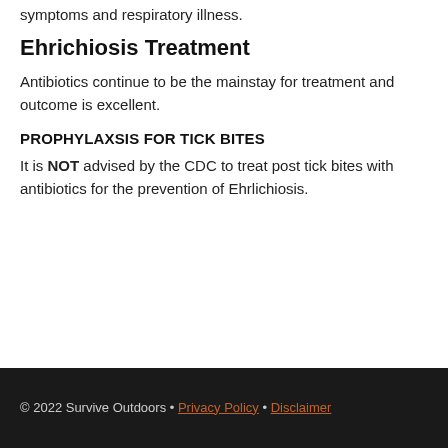symptoms and respiratory illness.
Ehrichiosis Treatment
Antibiotics continue to be the mainstay for treatment and outcome is excellent.
PROPHYLAXSIS FOR TICK BITES
It is NOT advised by the CDC to treat post tick bites with antibiotics for the prevention of Ehrlichiosis.
© 2022 Survive Outdoors • Privacy Policy • Disclaimer